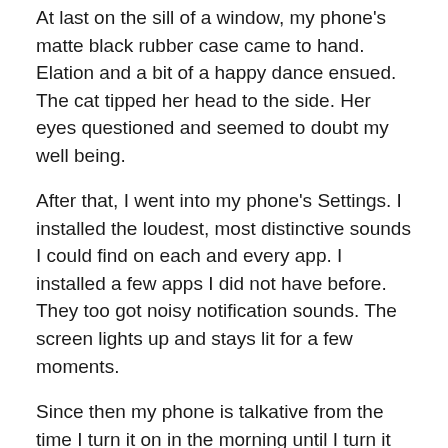At last on the sill of a window, my phone's matte black rubber case came to hand. Elation and a bit of a happy dance ensued. The cat tipped her head to the side. Her eyes questioned and seemed to doubt my well being.
After that, I went into my phone's Settings. I installed the loudest, most distinctive sounds I could find on each and every app. I installed a few apps I did not have before. They too got noisy notification sounds. The screen lights up and stays lit for a few moments.
Since then my phone is talkative from the time I turn it on in the morning until I turn it off at night.
Now, if I could find something similar for my keys………………